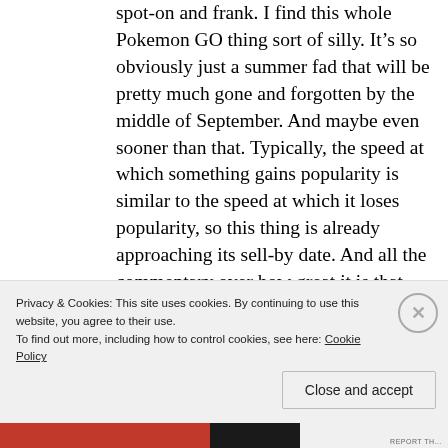spot-on and frank. I find this whole Pokemon GO thing sort of silly. It's so obviously just a summer fad that will be pretty much gone and forgotten by the middle of September. And maybe even sooner than that. Typically, the speed at which something gains popularity is similar to the speed at which it loses popularity, so this thing is already approaching its sell-by date. And all the commentary over how great it is that this is actually drawing people
Privacy & Cookies: This site uses cookies. By continuing to use this website, you agree to their use.
To find out more, including how to control cookies, see here: Cookie Policy